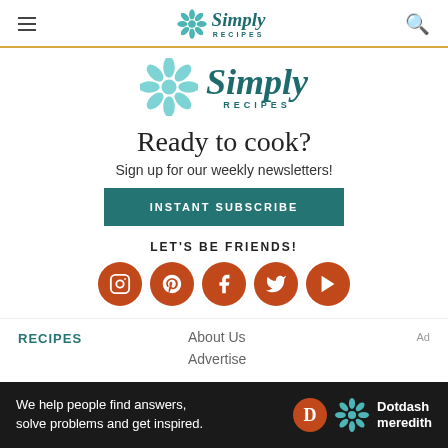Simply Recipes
[Figure (logo): Simply Recipes logo — flower icon with 'Simply RECIPES' text in teal]
Ready to cook?
Sign up for our weekly newsletters!
INSTANT SUBSCRIBE
LET'S BE FRIENDS!
[Figure (infographic): Five social media icons (Instagram, Pinterest, Facebook, Twitter, YouTube) in burnt orange circles]
RECIPES
About Us
Advertise
[Figure (infographic): Dotdash Meredith advertisement bar: 'We help people find answers, solve problems and get inspired.' with Dotdash Meredith logo]